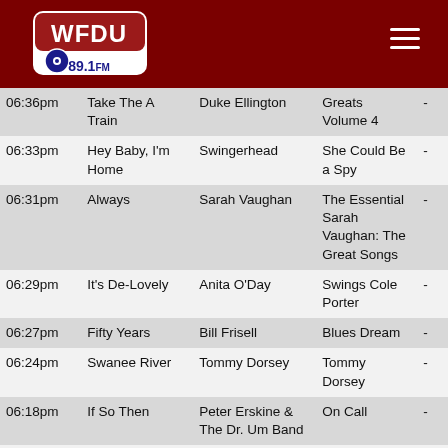WFDU 89.1FM
| Time | Song | Artist | Album |  |
| --- | --- | --- | --- | --- |
| 06:36pm | Take The A Train | Duke Ellington | Greats Volume 4 | - |
| 06:33pm | Hey Baby, I'm Home | Swingerhead | She Could Be a Spy | - |
| 06:31pm | Always | Sarah Vaughan | The Essential Sarah Vaughan: The Great Songs | - |
| 06:29pm | It's De-Lovely | Anita O'Day | Swings Cole Porter | - |
| 06:27pm | Fifty Years | Bill Frisell | Blues Dream | - |
| 06:24pm | Swanee River | Tommy Dorsey | Tommy Dorsey | - |
| 06:18pm | If So Then | Peter Erskine & The Dr. Um Band | On Call | - |
| 06:15pm | The Spirit-Feel | Ray Charles | - | - |
| 06:14pm | HD2 ID | - | - | - |
| 06:13pm |  |  | The Genius | - |